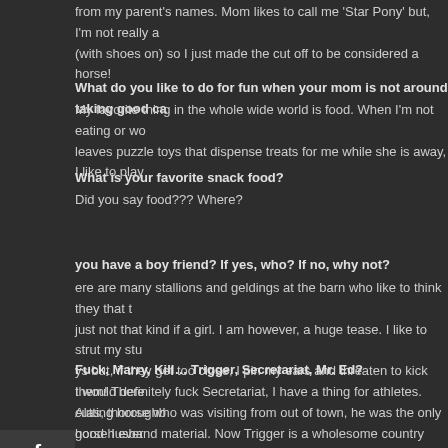from my parent's names. Mom likes to call me 'Star Pony' but, I'm not really a (with shoes on) so I just made the cut off to be considered a horse!
What do you like to do for fun when your mom is not around taking good ca
My favorite thing in the whole wide world is food. When I'm not eating or wo leaves puzzle toys that dispense treats for me while she is away, I like to play
What is your favorite snack food?
Did you say food???  Where?
you have a boy friend?  If yes, who?  If no, why not?
ere are many stallions and geldings at the barn who like to think they that t just not that kind if a girl. I am however, a huge tease. I like to strut my stu ys but, if they get too close, I pin my ears and threaten to kick them! There cutting horse who was visiting from out of town, he was the only horse I ever
Fuck, Marry, Kill… Trigger, Secretariat, Mr. Ed?
I would definitely fuck Secretariat, I have a thing for athletes. Alas, thoroughb good husband material. Now Trigger is a wholesome country stallion I could Plus, dat ass! I'd have to kill Mr. Ed because he just talks way too much and he